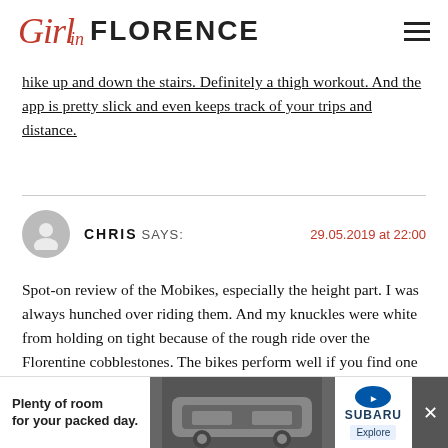Girl in FLORENCE
hike up and down the stairs. Definitely a thigh workout. And the app is pretty slick and even keeps track of your trips and distance.
CHRIS SAYS:  29.05.2019 at 22:00
Spot-on review of the Mobikes, especially the height part. I was always hunched over riding them. And my knuckles were white from holding on tight because of the rough ride over the Florentine cobblestones. The bikes perform well if you find one
[Figure (other): Advertisement banner for Subaru: 'Plenty of room for your packed day.' with Subaru logo and Explore button, car image in background, close button]